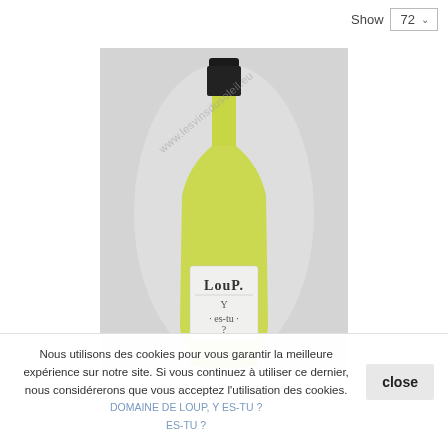Show 72
[Figure (photo): A green glass wine bottle with a white label reading 'Loup, y es-tu ?' on a light grey background. The bottle has a black capsule at the top. A watermark 'www.lesvinsdusoleil.eu' is overlaid diagonally.]
Nous utilisons des cookies pour vous garantir la meilleure expérience sur notre site. Si vous continuez à utiliser ce dernier, nous considérerons que vous acceptez l'utilisation des cookies.
close
DOMAINE DE LOUP, Y ES-TU ?